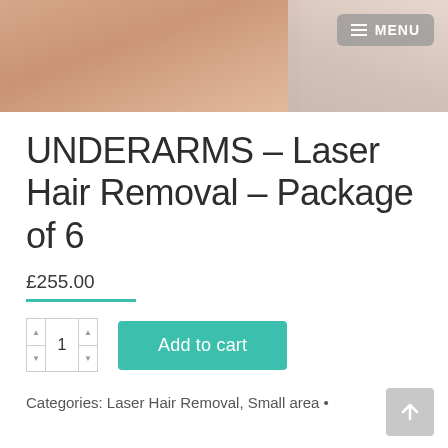[Figure (photo): Hero banner photo showing a person's midsection/torso skin, with a medical device visible at the right edge, suggesting a laser treatment context. A semi-transparent grey MENU button with hamburger icon is overlaid at the top right.]
UNDERARMS – Laser Hair Removal – Package of 6
£255.00
Add to cart
Categories: Laser Hair Removal, Small area •